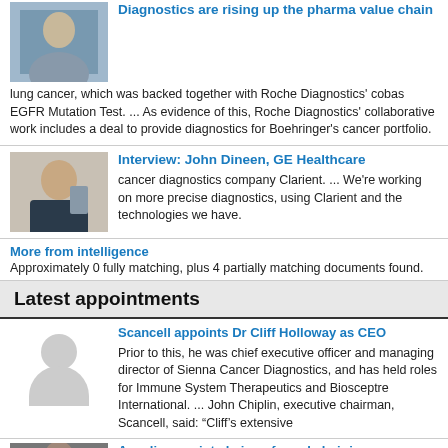Diagnostics are rising up the pharma value chain
lung cancer, which was backed together with Roche Diagnostics' cobas EGFR Mutation Test. ... As evidence of this, Roche Diagnostics' collaborative work includes a deal to provide diagnostics for Boehringer's cancer portfolio.
Interview: John Dineen, GE Healthcare
cancer diagnostics company Clarient. ... We're working on more precise diagnostics, using Clarient and the technologies we have.
More from intelligence
Approximately 0 fully matching, plus 4 partially matching documents found.
Latest appointments
Scancell appoints Dr Cliff Holloway as CEO
Prior to this, he was chief executive officer and managing director of Sienna Cancer Diagnostics, and has held roles for Immune System Therapeutics and Biosceptre International. ... John Chiplin, executive chairman, Scancell, said: “Cliff’s extensive
Apcalis appoints heir as formal chair in...